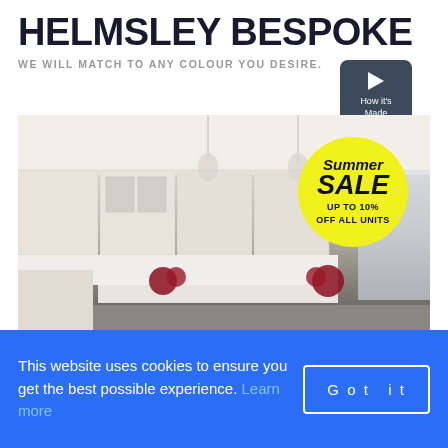HELMSLEY BESPOKE
WE WILL MATCH TO ANY COLOUR YOU DESIRE.
[Figure (other): Play button labeled 'How it's Made']
[Figure (photo): Luxury bespoke kitchen with cream upper cabinets, dark grey island, pendant lights, marble backsplash, red roses on countertop, and a Summer SALE badge showing UP TO 10% OFF ALL UNITS]
This website uses cookies to ensure you get the best possible experience. Learn more  Got it